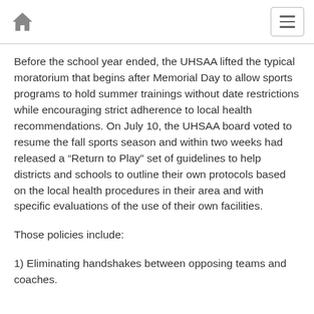Home icon | Menu button
Before the school year ended, the UHSAA lifted the typical moratorium that begins after Memorial Day to allow sports programs to hold summer trainings without date restrictions while encouraging strict adherence to local health recommendations. On July 10, the UHSAA board voted to resume the fall sports season and within two weeks had released a “Return to Play” set of guidelines to help districts and schools to outline their own protocols based on the local health procedures in their area and with specific evaluations of the use of their own facilities.
Those policies include:
1) Eliminating handshakes between opposing teams and coaches.